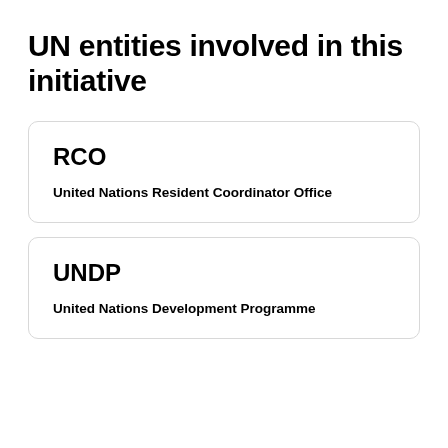UN entities involved in this initiative
RCO
United Nations Resident Coordinator Office
UNDP
United Nations Development Programme